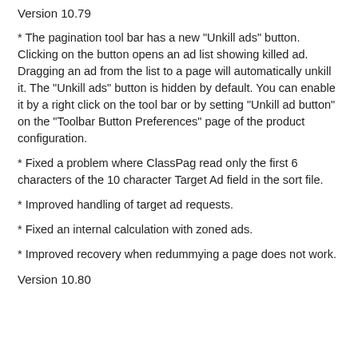Version 10.79
* The pagination tool bar has a new "Unkill ads" button. Clicking on the button opens an ad list showing killed ad. Dragging an ad from the list to a page will automatically unkill it. The "Unkill ads" button is hidden by default. You can enable it by a right click on the tool bar or by setting "Unkill ad button" on the "Toolbar Button Preferences" page of the product configuration.
* Fixed a problem where ClassPag read only the first 6 characters of the 10 character Target Ad field in the sort file.
* Improved handling of target ad requests.
* Fixed an internal calculation with zoned ads.
* Improved recovery when redummying a page does not work.
Version 10.80